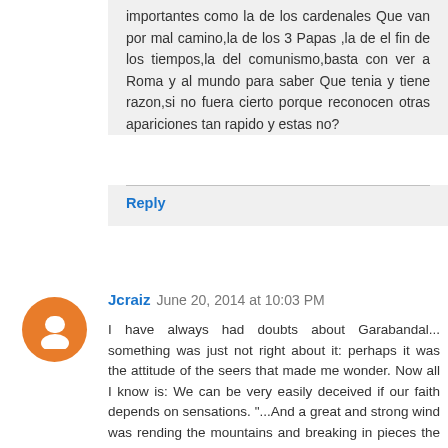importantes como la de los cardenales Que van por mal camino,la de los 3 Papas ,la de el fin de los tiempos,la del comunismo,basta con ver a Roma y al mundo para saber Que tenia y tiene razon,si no fuera cierto porque reconocen otras apariciones tan rapido y estas no?
Reply
Jcraiz  June 20, 2014 at 10:03 PM
I have always had doubts about Garabandal... something was just not right about it: perhaps it was the attitude of the seers that made me wonder. Now all I know is: We can be very easily deceived if our faith depends on sensations. "...And a great and strong wind was rending the mountains and breaking in pieces the rocks before the LORD; but the LORD was not in the wind. And after the wind an earthquake, but the LORD was not in the earthquake. After the earthquake a fire, but the LORD was not in the fire; and after the fire a sound of a gentle blowing. When Elijah